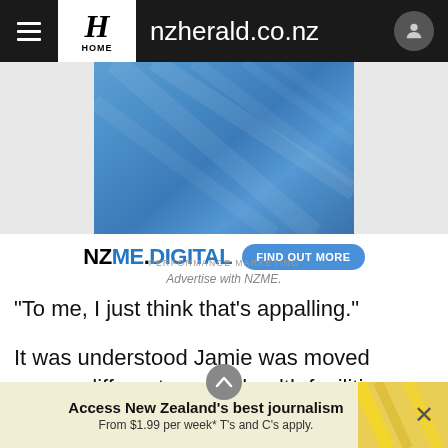nzherald.co.nz
[Figure (screenshot): NZ Herald website navigation bar with hamburger menu, H logo marked HOME, site name nzherald.co.nz, and user avatar icon]
[Figure (screenshot): Blue diagonal-stripe advertisement banner for NZME Digital Performance Marketing with FIND OUT MORE button]
Advertise with NZME.
"To me, I just think that's appalling."
It was understood Jamie was moved across different mental health facilities during the week after being
Access New Zealand's best journalism From $1.99 per week* T's and C's apply.